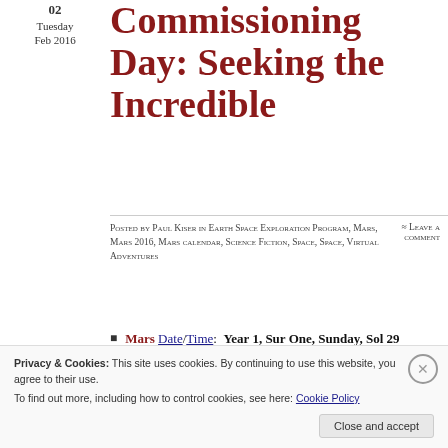02 Tuesday Feb 2016
Commissioning Day: Seeking the Incredible
Posted by Paul Kiser in Earth Space Exploration Program, Mars, Mars 2016, Mars calendar, Science Fiction, Space, Space, Virtual Adventures
≈ Leave a comment
Mars Date/Time: Year 1, Sur One, Sunday, Sol 29 (1.1.29) 9:10 AM NST
Earth Date/Time: Monday, 1 February 2016 10:06 AM PST
Tags
2016, artificial
Privacy & Cookies: This site uses cookies. By continuing to use this website, you agree to their use. To find out more, including how to control cookies, see here: Cookie Policy
Close and accept